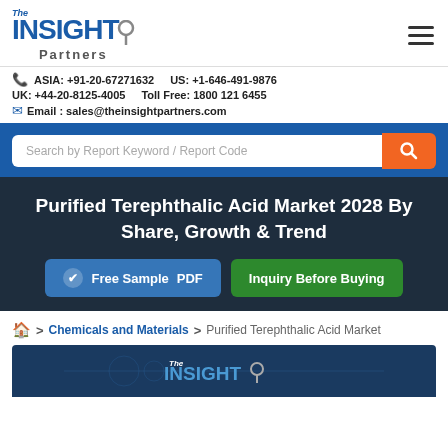The Insight Partners
ASIA: +91-20-67271632   US: +1-646-491-9876
UK: +44-20-8125-4005   Toll Free: 1800 121 6455
Email : sales@theinsightpartners.com
Search by Report Keyword / Report Code
Purified Terephthalic Acid Market 2028 By Share, Growth & Trend
Free Sample PDF   Inquiry Before Buying
Home > Chemicals and Materials > Purified Terephthalic Acid Market
[Figure (logo): The Insight Partners logo partial view at bottom of page]